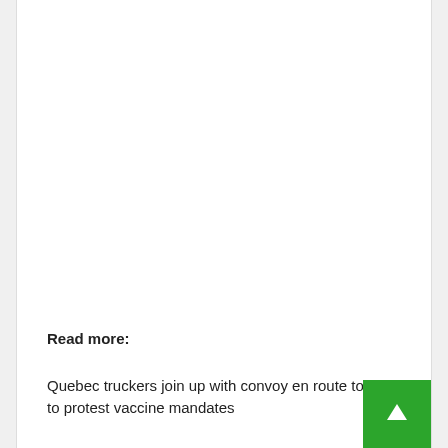Read more:
Quebec truckers join up with convoy en route to Ottawa to protest vaccine mandates